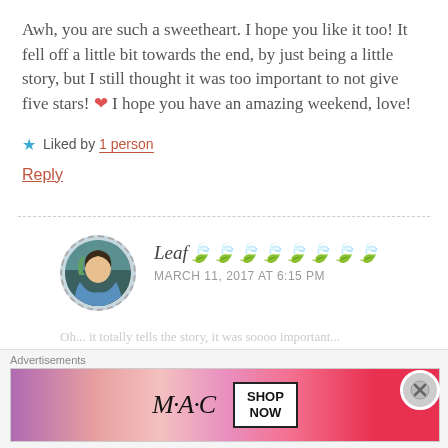Awh, you are such a sweetheart. I hope you like it too! It fell off a little bit towards the end, by just being a little story, but I still thought it was too important to not give five stars! ❤ I hope you have an amazing weekend, love!
★ Liked by 1 person
Reply
Leaf🍃🍃🍃🍃🍃🍃🍃🍃
MARCH 11, 2017 AT 6:15 PM
[Figure (photo): Avatar image of commenter Leaf, circular with dashed border, showing an illustrated anime-style character]
Advertisements
[Figure (photo): MAC cosmetics advertisement banner showing colorful lipsticks with MAC logo and SHOP NOW button]